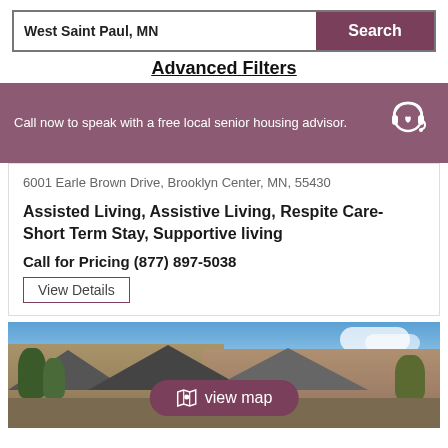West Saint Paul, MN
Search
Advanced Filters
Call now to speak with a free local senior housing advisor.
6001 Earle Brown Drive, Brooklyn Center, MN, 55430
Assisted Living, Assistive Living, Respite Care-Short Term Stay, Supportive living
Call for Pricing (877) 897-5038
View Details
[Figure (photo): Exterior photo of a senior housing facility — multi-story residential building with beige/tan siding, trees in foreground, blue sky with clouds in background. A 'view map' button overlay appears at the bottom center.]